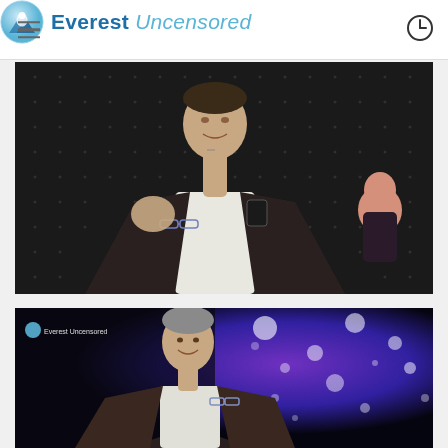Everest Uncensored
[Figure (photo): A man in a dark blazer over white shirt speaking at an event, holding glasses, with a wireless microphone and transmitter pack, gesturing with one hand. Dark background with dot-light pattern. A woman visible in the background.]
[Figure (photo): The same man speaking on a stage with a purple/blue bokeh background with scattered light orbs. The Everest Uncensored logo is visible in the upper left. He is wearing a checked blazer and holding glasses.]